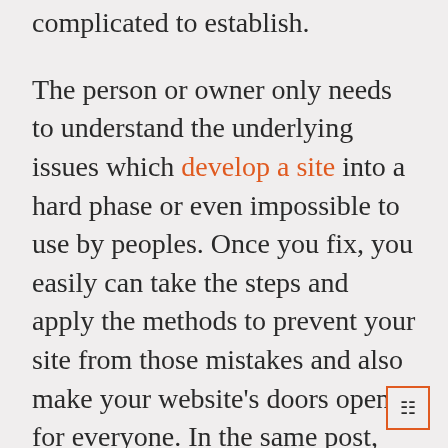complicated to establish.
The person or owner only needs to understand the underlying issues which develop a site into a hard phase or even impossible to use by peoples. Once you fix, you easily can take the steps and apply the methods to prevent your site from those mistakes and also make your website's doors open for everyone. In the same post, you will find that site accessibility involves and why it is so much important? Not only is this, you will find some most common techniques and also the ways related to how these